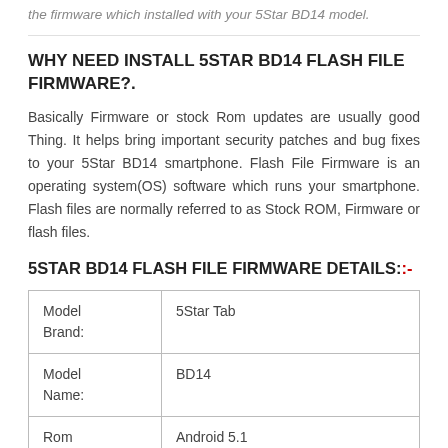the firmware which installed with your 5Star BD14 model.
WHY NEED INSTALL 5STAR BD14 FLASH FILE FIRMWARE?.
Basically Firmware or stock Rom updates are usually good Thing. It helps bring important security patches and bug fixes to your 5Star BD14 smartphone. Flash File Firmware is an operating system(OS) software which runs your smartphone. Flash files are normally referred to as Stock ROM, Firmware or flash files.
5STAR BD14 FLASH FILE FIRMWARE DETAILS:-
| Model Brand: | 5Star Tab |
| Model Name: | BD14 |
| Rom Version: | Android 5.1 |